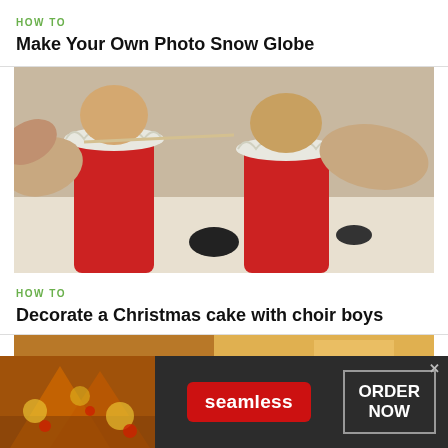HOW TO
Make Your Own Photo Snow Globe
[Figure (photo): Hands assembling Christmas choir boy cake decorations made from red fondant tubes with white lace collars and egg-shaped heads, using a toothpick tool]
HOW TO
Decorate a Christmas cake with choir boys
[Figure (photo): Partial view of a food/baking image at the bottom of the page]
[Figure (infographic): Seamless food ordering advertisement banner with pizza image on left, red Seamless button in center, and ORDER NOW button on right]